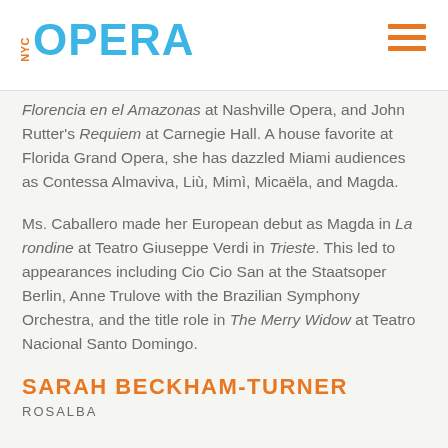NYC OPERA
Florencia en el Amazonas at Nashville Opera, and John Rutter's Requiem at Carnegie Hall. A house favorite at Florida Grand Opera, she has dazzled Miami audiences as Contessa Almaviva, Liù, Mimì, Micaëla, and Magda.
Ms. Caballero made her European debut as Magda in La rondine at Teatro Giuseppe Verdi in Trieste. This led to appearances including Cio Cio San at the Staatsoper Berlin, Anne Trulove with the Brazilian Symphony Orchestra, and the title role in The Merry Widow at Teatro Nacional Santo Domingo.
SARAH BECKHAM-TURNER
ROSALBA